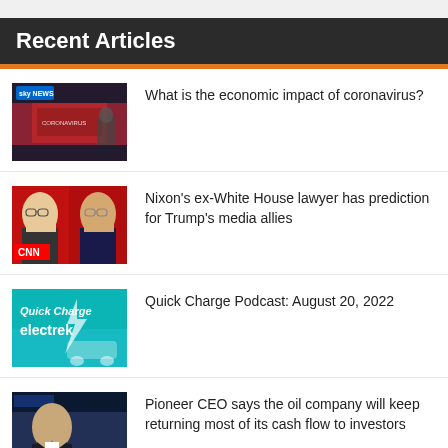Recent Articles
What is the economic impact of coronavirus?
Nixon's ex-White House lawyer has prediction for Trump's media allies
Quick Charge Podcast: August 20, 2022
Pioneer CEO says the oil company will keep returning most of its cash flow to investors